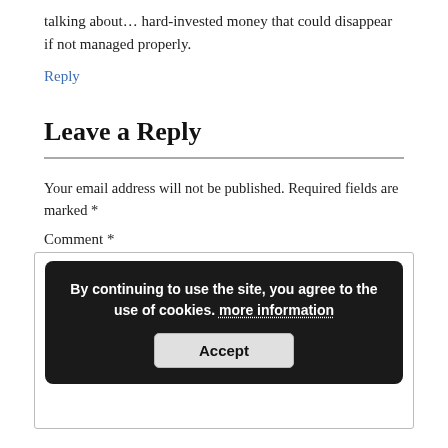talking about… hard-invested money that could disappear if not managed properly.
Reply
Leave a Reply
Your email address will not be published. Required fields are marked *
Comment *
By continuing to use the site, you agree to the use of cookies. more information
Accept